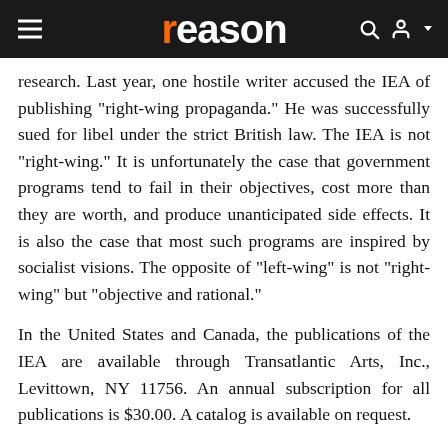reason
research. Last year, one hostile writer accused the IEA of publishing "right-wing propaganda." He was successfully sued for libel under the strict British law. The IEA is not "right-wing." It is unfortunately the case that government programs tend to fail in their objectives, cost more than they are worth, and produce unanticipated side effects. It is also the case that most such programs are inspired by socialist visions. The opposite of "left-wing" is not "right-wing" but "objective and rational."
In the United States and Canada, the publications of the IEA are available through Transatlantic Arts, Inc., Levittown, NY 11756. An annual subscription for all publications is $30.00. A catalog is available on request.
TAX-FIGHTING IN BRITAIN
Two years ago, self-employed persons in Britain found